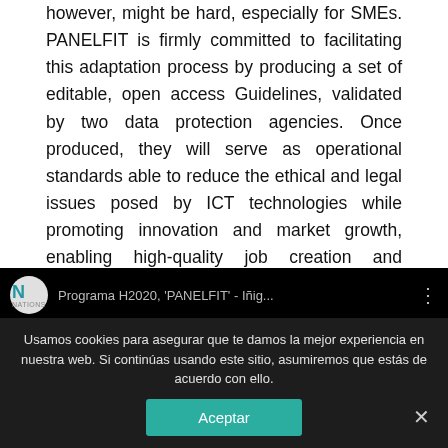however, might be hard, especially for SMEs. PANELFIT is firmly committed to facilitating this adaptation process by producing a set of editable, open access Guidelines, validated by two data protection agencies. Once produced, they will serve as operational standards able to reduce the ethical and legal issues posed by ICT technologies while promoting innovation and market growth, enabling high-quality job creation and ensuring an adequate level of privacy and security/cybersecurity.
[Figure (screenshot): Screenshot of a YouTube-style video player showing a video titled 'Programa H2020, PANELFIT - Iñig...' from a channel with an 'N' (NATIONS) logo. A cookie consent overlay covers the lower portion, reading: 'Usamos cookies para asegurar que te damos la mejor experiencia en nuestra web. Si continúas usando este sitio, asumiremos que estás de acuerdo con ello.' with an 'Aceptar' (Accept) button and a close 'X' button.]